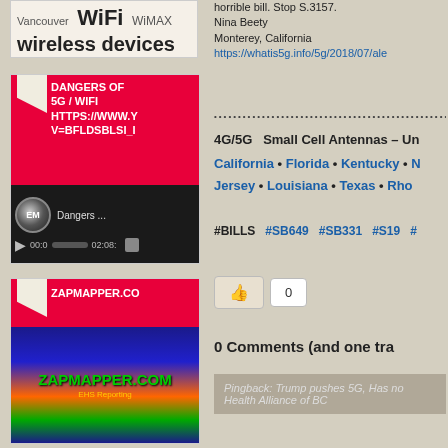[Figure (infographic): Tag cloud widget showing Vancouver, WiFi (large), WiMAX and 'wireless devices' text]
[Figure (screenshot): Video thumbnail for 'Dangers of 5G / WIFI' YouTube video with EM logo player showing 00:0 to 02:08 duration]
[Figure (screenshot): ZAPMAPPER.COM thumbnail with red header and colorful mapping interface showing EHS Reporting]
horrible bill. Stop S.3157.
Nina Beety
Monterey, California
https://whatis5g.info/5g/2018/07/ale
4G/5G  Small Cell Antennas – Un
California • Florida • Kentucky • N Jersey • Louisiana • Texas • Rho
#BILLS  #SB649  #SB331  #S19  #
0 Comments (and one tra
Pingback: Trump pushes 5G, Has no Health Alliance of BC